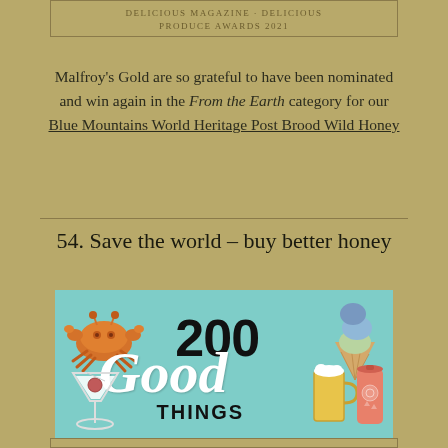DELICIOUS MAGAZINE · DELICIOUS PRODUCE AWARDS 2021
Malfroy's Gold are so grateful to have been nominated and win again in the From the Earth category for our Blue Mountains World Heritage Post Brood Wild Honey
54. Save the world – buy better honey
[Figure (illustration): 200 Good Things magazine cover/feature graphic with teal background showing illustrated crab, ice cream cone, cocktail glass, beer glass and can, with bold text reading '200 Good THINGS']